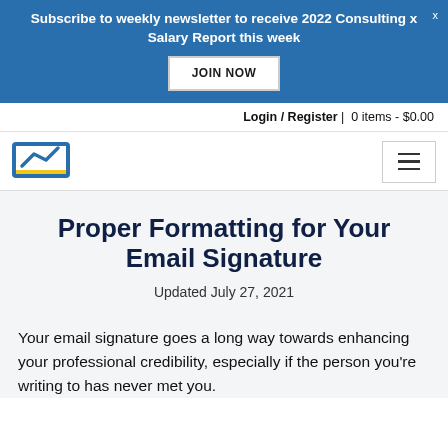Subscribe to weekly newsletter to receive 2022 Consulting x Salary Report this week
JOIN NOW
Login / Register | 0 items - $0.00
[Figure (logo): Chart/graph logo icon with yellow and blue colors]
Proper Formatting for Your Email Signature
Updated July 27, 2021
Your email signature goes a long way towards enhancing your professional credibility, especially if the person you're writing to has never met you.